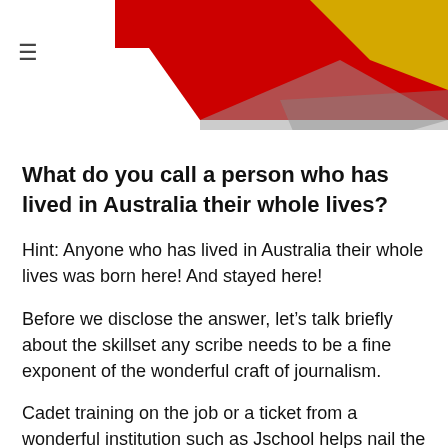[Figure (illustration): Partial view of a website header with red banner containing white text 'of others since 2007', decorative origami-style folded paper shapes in red, yellow, and gray]
≡
What do you call a person who has lived in Australia their whole lives?
Hint: Anyone who has lived in Australia their whole lives was born here! And stayed here!
Before we disclose the answer, let's talk briefly about the skillset any scribe needs to be a fine exponent of the wonderful craft of journalism.
Cadet training on the job or a ticket from a wonderful institution such as Jschool helps nail the perfect intro. Experience aids a sense of news value and how a fair and balanced report in any subject can flow freely and logically from beginning to end if you don't work for NewsCorp Australia.